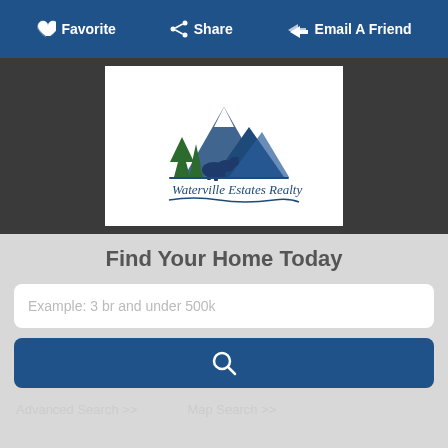Favorite  Share  Email A Friend
[Figure (logo): Waterville Estates Realty logo with mountain and pine trees illustration]
Find Your Home Today
Example: 3 br and under 500k
[Figure (other): Search button with magnifying glass icon]
Advanced Search >>  Map Search >>